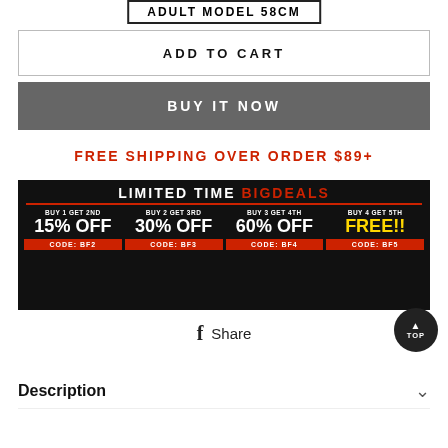ADULT MODEL 58CM
ADD TO CART
BUY IT NOW
FREE SHIPPING OVER ORDER $89+
[Figure (infographic): LIMITED TIME BIGDEALS banner: BUY 1 GET 2ND 15% OFF CODE: BF2 | BUY 2 GET 3RD 30% OFF CODE: BF3 | BUY 3 GET 4TH 60% OFF CODE: BF4 | BUY 4 GET 5TH FREE!! CODE: BF5]
f Share
Description